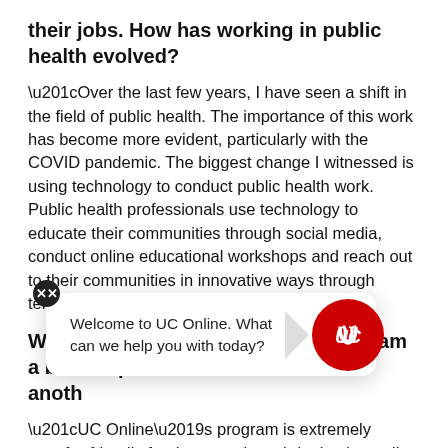their jobs. How has working in public health evolved?
“Over the last few years, I have seen a shift in the field of public health. The importance of this work has become more evident, particularly with the COVID pandemic. The biggest change I witnessed is using technology to conduct public health work. Public health professionals use technology to educate their communities through social media, conduct online educational workshops and reach out to their communities in innovative ways through telecommunication.”
What makes UC Online’s program a better option compared to another
“UC Online’s program is extremely transfer-friendly for those students bringing in credit